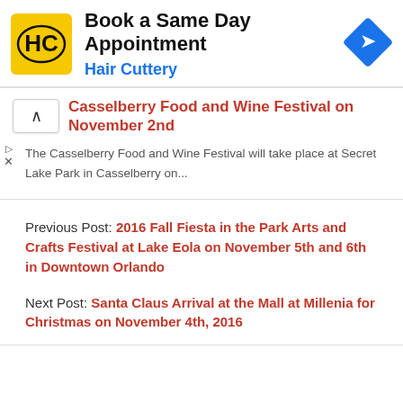[Figure (screenshot): Hair Cuttery advertisement banner with yellow HC logo, 'Book a Same Day Appointment' headline, 'Hair Cuttery' subtitle in blue, and blue diamond navigation icon on the right]
Casselberry Food and Wine Festival on November 2nd
The Casselberry Food and Wine Festival will take place at Secret Lake Park in Casselberry on...
Previous Post: 2016 Fall Fiesta in the Park Arts and Crafts Festival at Lake Eola on November 5th and 6th in Downtown Orlando
Next Post: Santa Claus Arrival at the Mall at Millenia for Christmas on November 4th, 2016